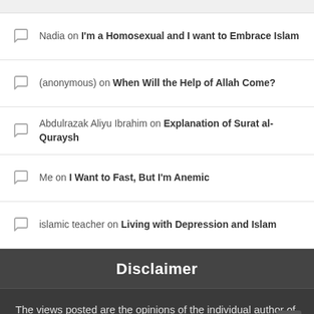Nadia on I'm a Homosexual and I want to Embrace Islam
(anonymous) on When Will the Help of Allah Come?
Abdulrazak Aliyu Ibrahim on Explanation of Surat al-Quraysh
Me on I Want to Fast, But I'm Anemic
islamic teacher on Living with Depression and Islam
Disclaimer
The views posted are the opinions of the individual author of each posting, and are solely meant for educationaldiscussion and debate, not for any ill...